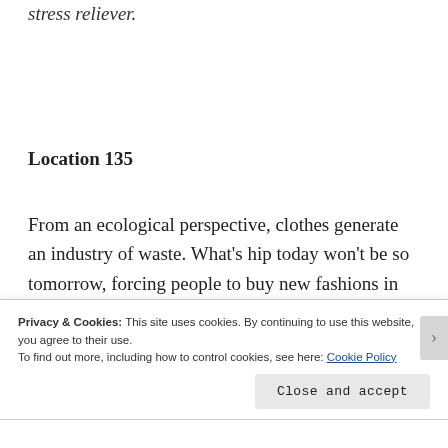stress reliever.
Location 135
From an ecological perspective, clothes generate an industry of waste. What’s hip today won’t be so tomorrow, forcing people to buy new fashions in order to remain proper and up-to-date. One must
Privacy & Cookies: This site uses cookies. By continuing to use this website, you agree to their use.
To find out more, including how to control cookies, see here: Cookie Policy
Close and accept